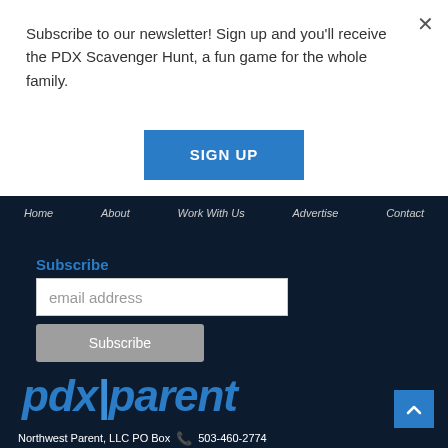Subscribe to our newsletter! Sign up and you'll receive the PDX Scavenger Hunt, a fun game for the whole family.
SIGN UP
Home   About   Work With Us   Advertise   Contact
Subscribe
email address
Subscribe
[Figure (logo): PDX Parent logo in blue italic bold text]
Northwest Parent, LLC PO Box   503-460-2774